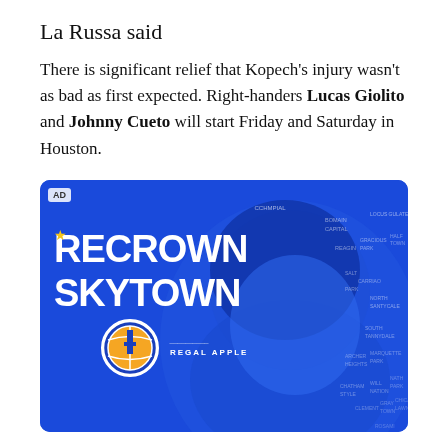La Russa said
There is significant relief that Kopech's injury wasn't as bad as first expected. Right-handers Lucas Giolito and Johnny Cueto will start Friday and Saturday in Houston.
[Figure (photo): Blue-toned advertisement banner reading 'RECROWN SKYTOWN' with a basketball team logo (star and basketball) and 'REGAL APPLE' branding, featuring a woman's face in blue monochrome with neighborhood names listed on the right side. AD badge in top left corner.]